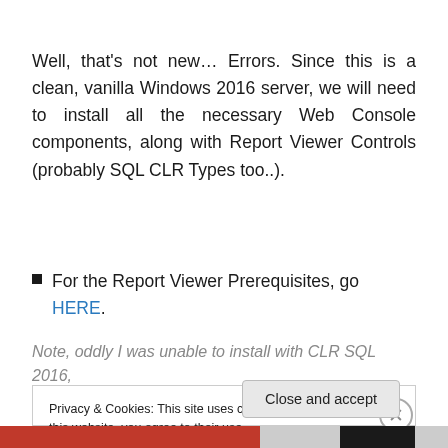Well, that's not new… Errors. Since this is a clean, vanilla Windows 2016 server, we will need to install all the necessary Web Console components, along with Report Viewer Controls (probably SQL CLR Types too..).
For the Report Viewer Prerequisites, go HERE.
Note, oddly I was unable to install with CLR SQL 2016, Reports Viewer still complained and required CLR SQL
Privacy & Cookies: This site uses cookies. By continuing to use this website, you agree to their use.
To find out more, including how to control cookies, see here: Cookie Policy
Close and accept